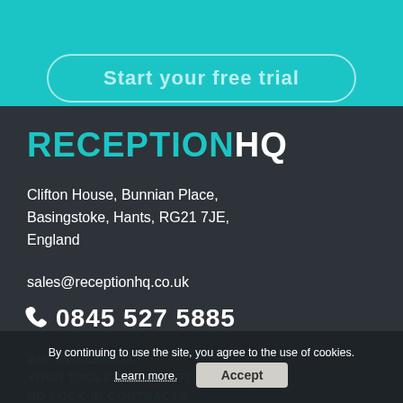[Figure (illustration): Teal/cyan top banner with a rounded rectangle button outline containing text 'Start your free trial']
RECEPTIONHQ
Clifton House, Bunnian Place, Basingstoke, Hants, RG21 7JE, England
sales@receptionhq.co.uk
0845 527 5885
24/7 AVAILABILITY
YOUR TOOLS ARE OUR TOOLS
NO LOCK-IN CONTRACTS
[Figure (logo): Social media icons: LinkedIn, Facebook, Instagram, Twitter (white icons on dark background)]
By continuing to use the site, you agree to the use of cookies.
Learn more.
Accept